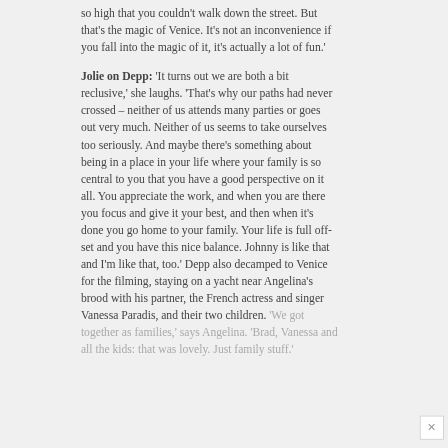so high that you couldn't walk down the street. But that's the magic of Venice. It's not an inconvenience if you fall into the magic of it, it's actually a lot of fun.'
Jolie on Depp: 'It turns out we are both a bit reclusive,' she laughs. 'That's why our paths had never crossed – neither of us attends many parties or goes out very much. Neither of us seems to take ourselves too seriously. And maybe there's something about being in a place in your life where your family is so central to you that you have a good perspective on it all. You appreciate the work, and when you are there you focus and give it your best, and then when it's done you go home to your family. Your life is full off-set and you have this nice balance. Johnny is like that and I'm like that, too.' Depp also decamped to Venice for the filming, staying on a yacht near Angelina's brood with his partner, the French actress and singer Vanessa Paradis, and their two children. 'We got together as families,' says Angelina. 'Brad, Vanessa and all the kids: that was lovely. Just family stuff.'